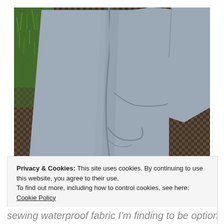[Figure (photo): Gray/blue waterproof fabric laid out on a dark wicker surface with green grass visible in the background. The fabric is folded and shows a seam running lengthwise.]
Privacy & Cookies: This site uses cookies. By continuing to use this website, you agree to their use.
To find out more, including how to control cookies, see here: Cookie Policy
Close and accept
sewing waterproof fabric I'm finding to be optional,